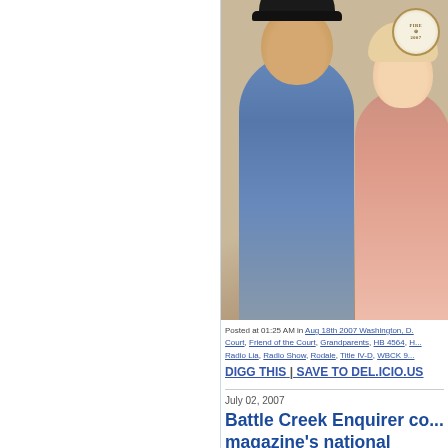[Figure (photo): Two people posing together for a photo — a man in a black cap and denim jacket with a cross necklace, and a woman with blonde hair. A circular badge/watermark is visible in the upper right corner of the photo.]
Posted at 01:25 AM in Aug 18th 2007 Washington, D... Court, Friend of the Court, Grandparents, HB 4564, H... Radio Lia, Radio Show, Rodale, Title IV-D, WBCK 9...
DIGG THIS | SAVE TO DEL.ICIO.US
July 02, 2007
Battle Creek Enquirer co... magazine's national Hero...